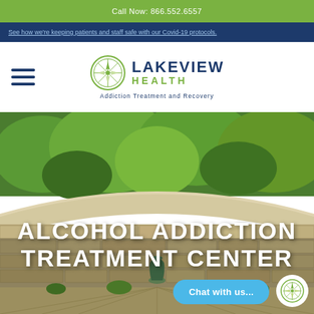Call Now: 866.552.6557
See how we're keeping patients and staff safe with our Covid-19 protocols.
[Figure (logo): Lakeview Health - Addiction Treatment and Recovery logo with compass rose icon]
[Figure (photo): Outdoor stone wall fountain area with green trees in background at Lakeview Health facility]
ALCOHOL ADDICTION TREATMENT CENTER
Chat with us...